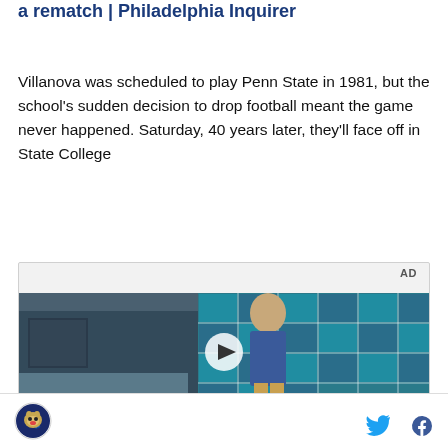a rematch | Philadelphia Inquirer
Villanova was scheduled to play Penn State in 1981, but the school's sudden decision to drop football meant the game never happened. Saturday, 40 years later, they'll face off in State College
[Figure (screenshot): Video player thumbnail showing a young man standing in front of a teal/blue glass wall in what appears to be a cafeteria or school setting. An AD label is in the top right corner. A play button is centered on the video. Text overlay reads 'Unfold your world'.]
[Figure (logo): Circular logo with a wildcat mascot]
[Figure (other): Twitter/X share icon in blue]
[Figure (other): Facebook share icon in dark blue]